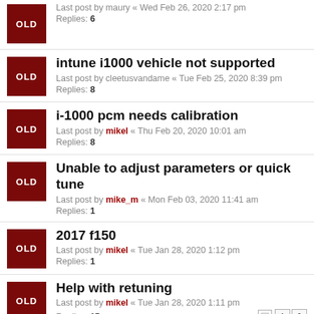Last post by maury « Wed Feb 26, 2020 2:17 pm
Replies: 6
intune i1000 vehicle not supported
Last post by cleetusvandame « Tue Feb 25, 2020 8:39 pm
Replies: 8
i-1000 pcm needs calibration
Last post by mikel « Thu Feb 20, 2020 10:01 am
Replies: 8
Unable to adjust parameters or quick tune
Last post by mike_m « Mon Feb 03, 2020 11:41 am
Replies: 1
2017 f150
Last post by mikel « Tue Jan 28, 2020 1:12 pm
Replies: 1
Help with retuning
Last post by mikel « Tue Jan 28, 2020 1:11 pm
Replies: 15
Diablosport InTune S&B CAI Tune???
Last post by 2006 Mustang GT « Thu Jan 23, 2020 5:54 pm